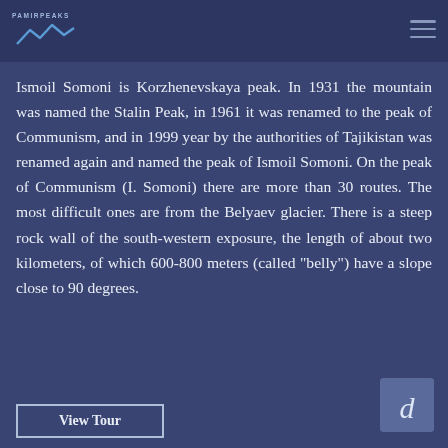PAMIRPEAKS logo and navigation
Ismoil Somoni is Korzhenevskaya peak. In 1931 the mountain was named the Stalin Peak, in 1961 it was renamed to the peak of Communism, and in 1999 year by the authorities of Tajikistan was renamed again and named the peak of Ismoil Somoni. On the peak of Communism (I. Somoni) there are more than 30 routes. The most difficult ones are from the Belyaev glacier. There is a steep rock wall of the south-western exposure, the length of about two kilometers, of which 600-800 meters (called "belly") have a slope close to 90 degrees.